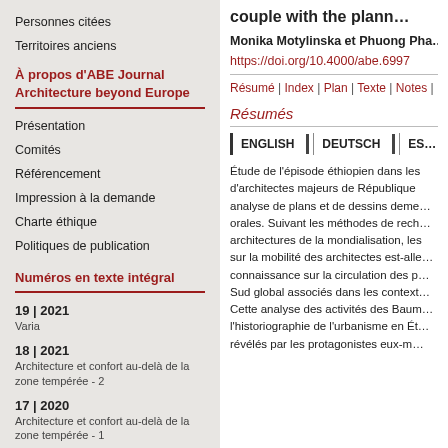Personnes citées
Territoires anciens
À propos d'ABE Journal Architecture beyond Europe
Présentation
Comités
Référencement
Impression à la demande
Charte éthique
Politiques de publication
Numéros en texte intégral
19 | 2021
Varia
18 | 2021
Architecture et confort au-delà de la zone tempérée - 2
17 | 2020
Architecture et confort au-delà de la zone tempérée - 1
couple with the plann…
Monika Motylinska et Phuong Pha…
https://doi.org/10.4000/abe.6997
Résumé | Index | Plan | Texte | Notes | Illus…
Résumés
ENGLISH | DEUTSCH | ES…
Étude de l'épisode éthiopien dans les… d'architectes majeurs de République… analyse de plans et de dessins deme… orales. Suivant les méthodes de rech… architectures de la mondialisation, les… sur la mobilité des architectes est-alle… connaissance sur la circulation des p… Sud global associés dans les context… Cette analyse des activités des Baum… l'historiographie de l'urbanisme en Ét… révélés par les protagonistes eux-m…